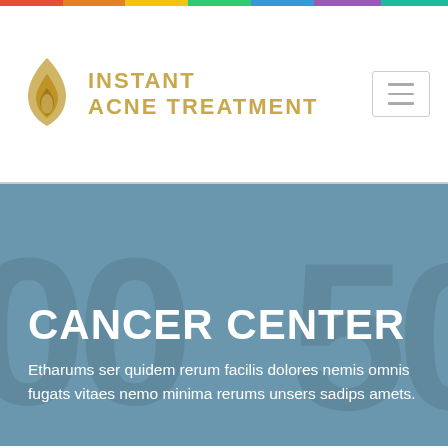[Figure (logo): Instant Acne Treatment logo with golden flame icon and text]
CANCER CENTER
Etharums ser quidem rerum facilis dolores nemis omnis fugats vitaes nemo minima rerums unsers sadips amets.